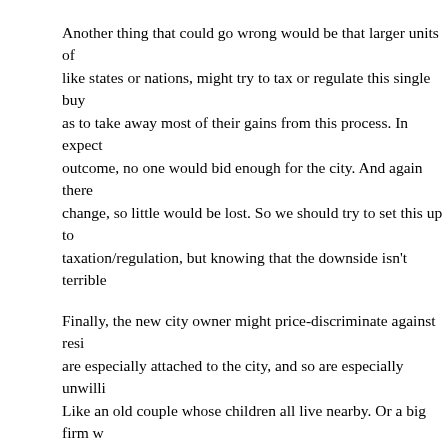Another thing that could go wrong would be that larger units of like states or nations, might try to tax or regulate this single buy as to take away most of their gains from this process. In expect outcome, no one would bid enough for the city. And again there change, so little would be lost. So we should try to set this up to taxation/regulation, but knowing that the downside isn't terrible
Finally, the new city owner might price-discriminate against resi are especially attached to the city, and so are especially unwilli Like an old couple whose children all live nearby. Or a big firm w expensive plant located there. If the new owner cranks up their these folks might lose on net, even if they are paid a 50% bonu property values. Of course one might try to set rules to limit pric discrimination, though that might create the over-regulate scena Also, if selling off cities whole became a regular thing, then peo may learn to not get too attached to any one city.
I don't see any of these problems as overwhelming, so I'd endo do this. But I don't actually expect many places to try it, becaus most voters whose support would be needed would see their st